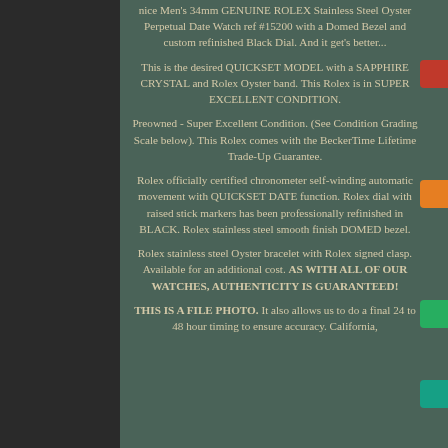nice Men's 34mm GENUINE ROLEX Stainless Steel Oyster Perpetual Date Watch ref #15200 with a Domed Bezel and custom refinished Black Dial. And it get's better...
This is the desired QUICKSET MODEL with a SAPPHIRE CRYSTAL and Rolex Oyster band. This Rolex is in SUPER EXCELLENT CONDITION.
Preowned - Super Excellent Condition. (See Condition Grading Scale below). This Rolex comes with the BeckerTime Lifetime Trade-Up Guarantee.
Rolex officially certified chronometer self-winding automatic movement with QUICKSET DATE function. Rolex dial with raised stick markers has been professionally refinished in BLACK. Rolex stainless steel smooth finish DOMED bezel.
Rolex stainless steel Oyster bracelet with Rolex signed clasp. Available for an additional cost. AS WITH ALL OF OUR WATCHES, AUTHENTICITY IS GUARANTEED!
THIS IS A FILE PHOTO. It also allows us to do a final 24 to 48 hour timing to ensure accuracy. California,